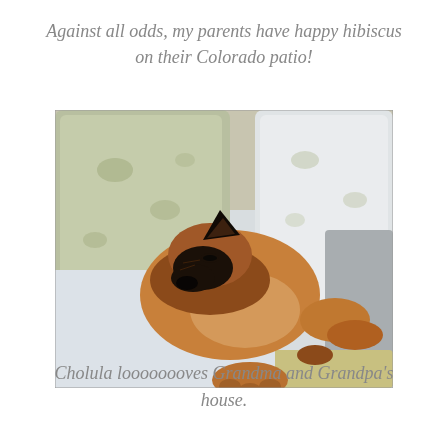Against all odds, my parents have happy hibiscus on their Colorado patio!
[Figure (photo): A German Shepherd dog sleeping curled up on a couch with pillows, viewed from above.]
Cholula loooooooves Grandma and Grandpa's house.